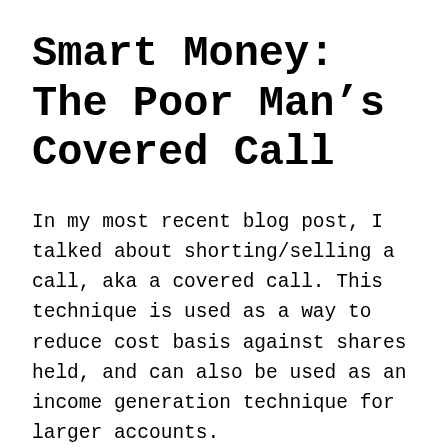Smart Money: The Poor Man’s Covered Call
In my most recent blog post, I talked about shorting/selling a call, aka a covered call. This technique is used as a way to reduce cost basis against shares held, and can also be used as an income generation technique for larger accounts.
However, not everyone has a large